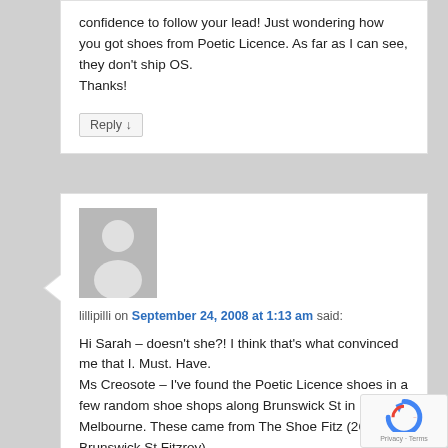confidence to follow your lead! Just wondering how you got shoes from Poetic Licence. As far as I can see, they don't ship OS.
Thanks!
Reply ↓
[Figure (illustration): Default avatar/profile image placeholder — grey box with a white silhouette of a person]
lillipilli on September 24, 2008 at 1:13 am said:
Hi Sarah – doesn't she?! I think that's what convinced me that I. Must. Have.
Ms Creosote – I've found the Poetic Licence shoes in a few random shoe shops along Brunswick St in Melbourne. These came from The Shoe Fitz (265 Brunswick St Fitzroy)
There are a few Aussie stockists – you could try Google Australia. Failing that there's always eBay